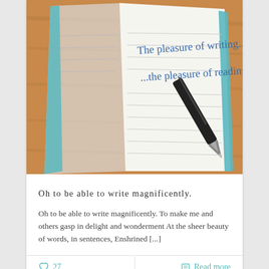[Figure (photo): An open notebook with blue handwriting reading 'The pleasure of writing... ...the pleasure of reading' with a fountain pen resting on the right page, on a wooden surface.]
Oh to be able to write magnificently.
Oh to be able to write magnificently. To make me and others gasp in delight and wonderment At the sheer beauty of words, in sentences, Enshrined [...]
27
Read more